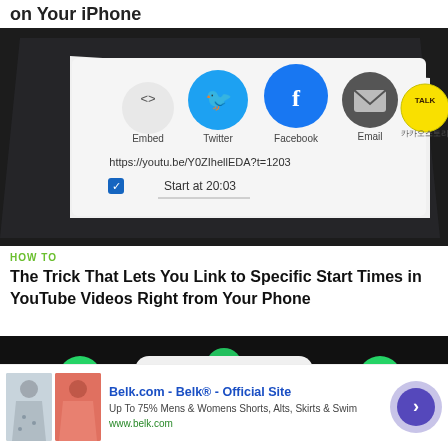on Your iPhone
[Figure (photo): Close-up of a phone screen showing YouTube share options including Embed, Twitter, Facebook, Email, KakaoStory icons, a URL https://youtu.be/Y0ZIhellEDA?t=1203 and a checked 'Start at 20:03' option]
HOW TO
The Trick That Lets You Link to Specific Start Times in YouTube Videos Right from Your Phone
[Figure (photo): Partial photo at bottom showing phone screen with green WhatsApp-like sharing icons, dark background]
[Figure (screenshot): Advertisement banner for Belk.com - Belk® - Official Site. Up To 75% Mens & Womens Shorts, Alts, Skirts & Swim. www.belk.com. Shows two women in skirts and a purple circular arrow button.]